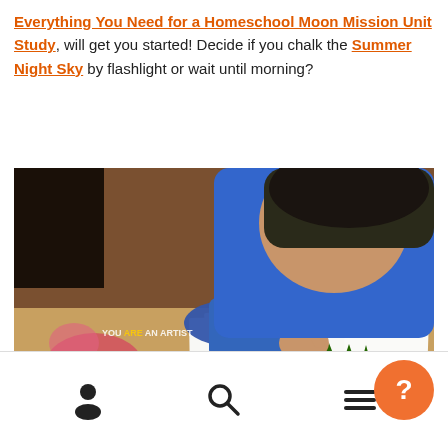Everything You Need for a Homeschool Moon Mission Unit Study, will get you started! Decide if you chalk the Summer Night Sky by flashlight or wait until morning?
[Figure (photo): A young boy in a blue long-sleeve shirt leaning over a table drawing with chalk pastels on paper. Multiple colorful chalk sticks are scattered on the table. A 'You Are An Artist' watermark is visible. The drawings on paper show trees, plants, and simple scenes.]
Navigation footer with person icon, search icon, menu icon, and orange help button with question mark